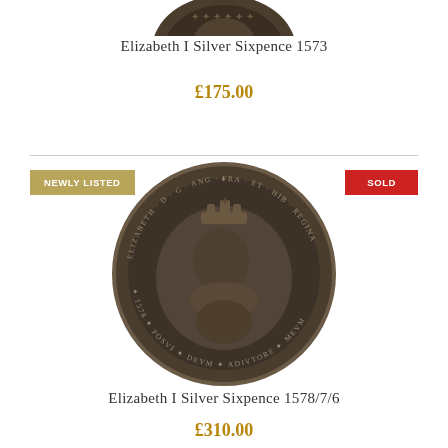[Figure (photo): Top portion of a silver coin (Elizabeth I Silver Sixpence 1573), partially cropped at the top of the page]
Elizabeth I Silver Sixpence 1573
£175.00
[Figure (photo): Elizabeth I Silver Sixpence 1578/7/6 coin showing portrait of Queen Elizabeth I with crown, inscriptions around the edge. Tagged with 'NEWLY LISTED' badge on the left and 'SOLD' badge on the right.]
Elizabeth I Silver Sixpence 1578/7/6
£310.00